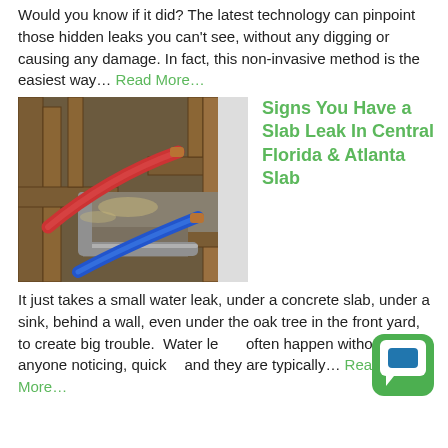Would you know if it did? The latest technology can pinpoint those hidden leaks you can't see, without any digging or causing any damage. In fact, this non-invasive method is the easiest way… Read More…
[Figure (photo): Photo showing exposed under-floor plumbing pipes (red and blue PEX pipes) amid broken wood flooring/subfloor, likely from a slab leak repair.]
Signs You Have a Slab Leak In Central Florida & Atlanta Slab
It just takes a small water leak, under a concrete slab, under a sink, behind a wall, even under the oak tree in the front yard, to create big trouble. Water leaks often happen without anyone noticing, quickly, and they are typically… Read More…